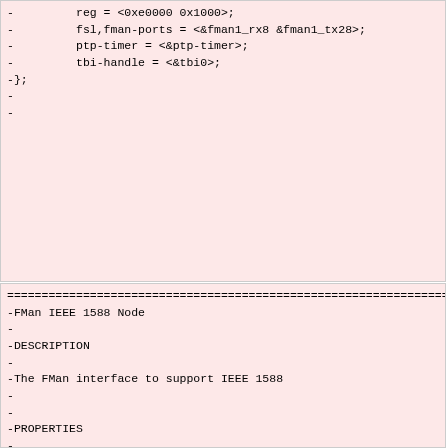-         reg = <0xe0000 0x1000>;
-         fsl,fman-ports = <&fman1_rx8 &fman1_tx28>;
-         ptp-timer = <&ptp-timer>;
-         tbi-handle = <&tbi0>;
-};
-
-
================================================================
-FMan IEEE 1588 Node
-
-DESCRIPTION
-
-The FMan interface to support IEEE 1588
-
-
-PROPERTIES
-
-- compatible
-                   Usage: required
-                   Value type: <stringlist>
-                   Definition: A standard property.
-                   Must include "fsl,fman-ptp-timer".
-
-- reg
-                   Usage: required